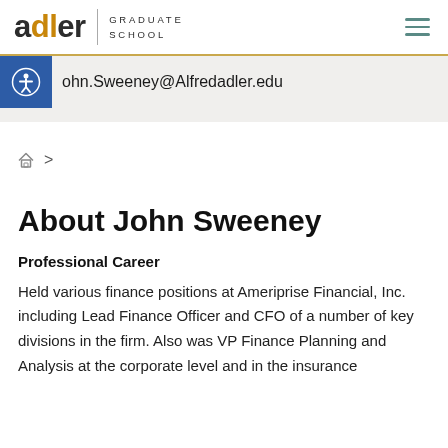adler GRADUATE SCHOOL
John.Sweeney@Alfredadler.edu
About John Sweeney
Professional Career
Held various finance positions at Ameriprise Financial, Inc. including Lead Finance Officer and CFO of a number of key divisions in the firm. Also was VP Finance Planning and Analysis at the corporate level and in the insurance